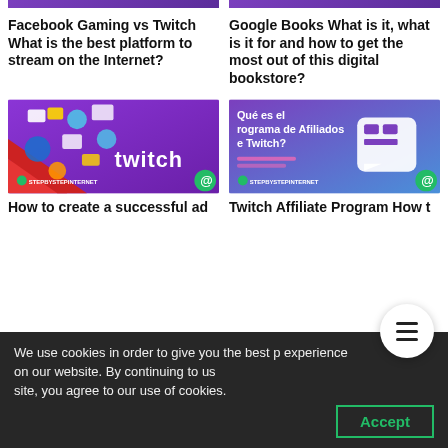[Figure (screenshot): Partial top of StepByStepInternet article image (left) - cropped at top]
[Figure (screenshot): Partial top of StepByStepInternet article image (right) - cropped at top]
Facebook Gaming vs Twitch What is the best platform to stream on the Internet?
Google Books What is it, what is it for and how to get the most out of this digital bookstore?
[Figure (screenshot): Twitch themed article thumbnail with purple background, technology icons, and 'twitch' text logo. StepByStepInternet branding at bottom.]
[Figure (screenshot): Twitch Affiliate Program article thumbnail - purple/blue gradient, Twitch logo, text 'Qué es el Programa de Afiliados de Twitch?'. StepByStepInternet branding.]
How to create a successful ad
Twitch Affiliate Program How t
We use cookies in order to give you the best p experience on our website. By continuing to us site, you agree to our use of cookies.
Accept